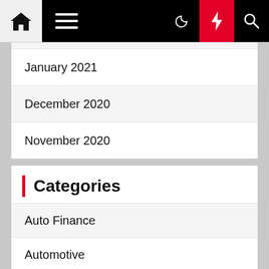Navigation bar with home, menu, dark mode, lightning, and search icons
January 2021
December 2020
November 2020
Categories
Auto Finance
Automotive
Car Insurance
Car Reviews